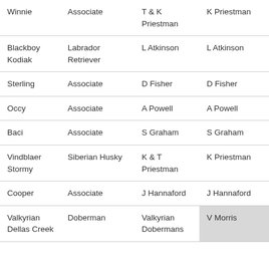| Winnie | Associate | T & K Priestman | K Priestman |
| Blackboy Kodiak | Labrador Retriever | L Atkinson | L Atkinson |
| Sterling | Associate | D Fisher | D Fisher |
| Occy | Associate | A Powell | A Powell |
| Baci | Associate | S Graham | S Graham |
| Vindblaer Stormy | Siberian Husky | K & T Priestman | K Priestman |
| Cooper | Associate | J Hannaford | J Hannaford |
| Valkyrian Dellas Creek | Doberman | Valkyrian Dobermans | V Morris |